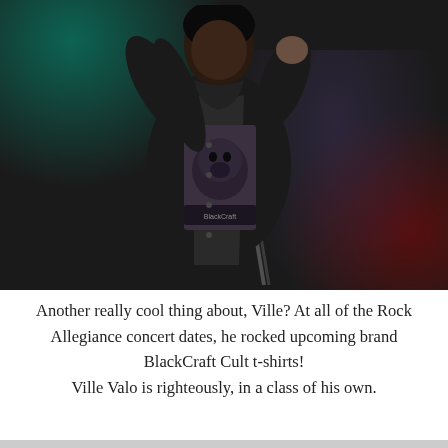[Figure (photo): A rock performer on stage holding a microphone stand, wearing a dark jacket open over a BlackCraft Cult t-shirt featuring a dog graphic. Stage lighting creates teal/green light on the left and red on the right against a dark background.]
Another really cool thing about, Ville? At all of the Rock Allegiance concert dates, he rocked upcoming brand BlackCraft Cult t-shirts! Ville Valo is righteously, in a class of his own.